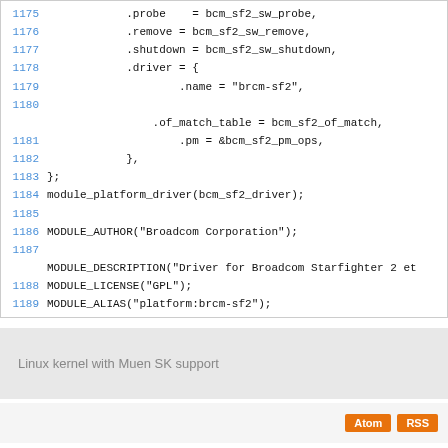Code snippet: lines 1175-1189 of bcm_sf2 driver source, showing .remove, .shutdown, .driver, .name, .of_match_table, .pm fields, closing braces, module_platform_driver, MODULE_AUTHOR, MODULE_DESCRIPTION, MODULE_LICENSE, MODULE_ALIAS macros
Linux kernel with Muen SK support
Atom RSS